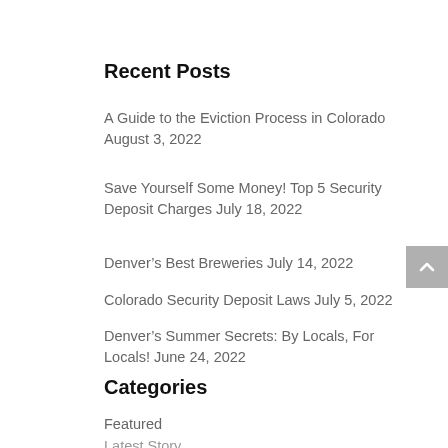Recent Posts
A Guide to the Eviction Process in Colorado August 3, 2022
Save Yourself Some Money! Top 5 Security Deposit Charges July 18, 2022
Denver’s Best Breweries July 14, 2022
Colorado Security Deposit Laws July 5, 2022
Denver’s Summer Secrets: By Locals, For Locals! June 24, 2022
Categories
Featured
Latest Story
Property Management